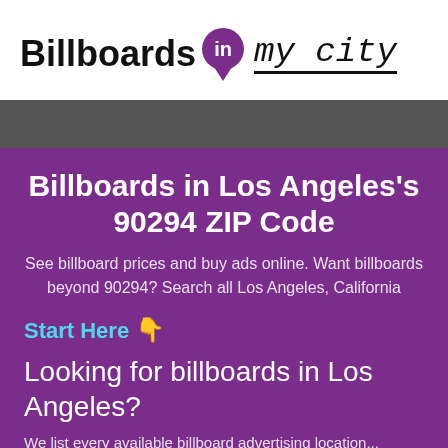[Figure (logo): Billboards in my city logo with purple map pin containing 'in' and handwritten-style 'my city' text with underline]
Billboards in Los Angeles's 90294 ZIP Code
See billboard prices and buy ads online. Want billboards beyond 90294? Search all Los Angeles, California
Start Here 👇
Looking for billboards in Los Angeles?
We list every available billboard advertising location...